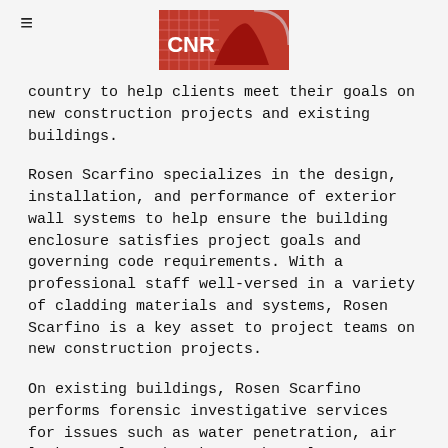CNR logo header with hamburger menu
country to help clients meet their goals on new construction projects and existing buildings.
Rosen Scarfino specializes in the design, installation, and performance of exterior wall systems to help ensure the building enclosure satisfies project goals and governing code requirements. With a professional staff well-versed in a variety of cladding materials and systems, Rosen Scarfino is a key asset to project teams on new construction projects.
On existing buildings, Rosen Scarfino performs forensic investigative services for issues such as water penetration, air leakage, glass breakage, thermal discomfort, and structural issues. Rosen Scarfino assesses these complex facade-related issues to provide practical and effective